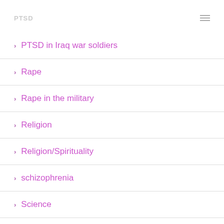PTSD in Iraq war soldiers
Rape
Rape in the military
Religion
Religion/Spirituality
schizophrenia
Science
Seattle Events